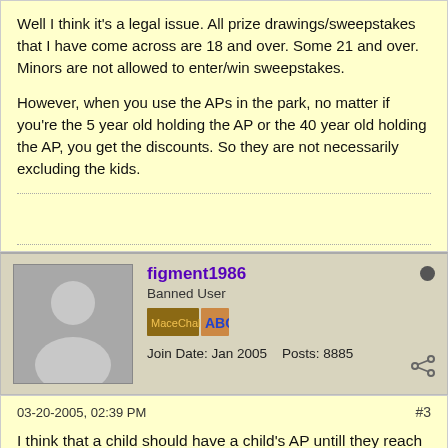Well I think it's a legal issue. All prize drawings/sweepstakes that I have come across are 18 and over. Some 21 and over. Minors are not allowed to enter/win sweepstakes.
However, when you use the APs in the park, no matter if you're the 5 year old holding the AP or the 40 year old holding the AP, you get the discounts. So they are not necessarily excluding the kids.
figment1986
Banned User
Join Date: Jan 2005    Posts: 8885
03-20-2005, 02:39 PM
#3
I think that a child should have a child's AP untill they reach the age of 13???
(forums require a child to be 13 before they can join legaly....)